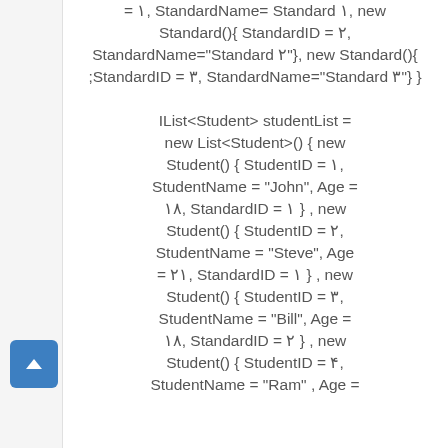= ۱, StandardName= Standard ۱, new Standard(){ StandardID = ۲, StandardName="Standard ۲"}, new Standard(){ StandardID = ۳, StandardName="Standard ۳"} } IList<Student> studentList = new List<Student>() { new Student() { StudentID = ۱, StudentName = "John", Age = ۱۸, StandardID = ۱ } , new Student() { StudentID = ۲, StudentName = "Steve", Age = ۲۱, StandardID = ۱ } , new Student() { StudentID = ۳, StudentName = "Bill", Age = ۱۸, StandardID = ۲ } , new Student() { StudentID = ۴, StudentName = "Ram" , Age = ... StandardID = ...